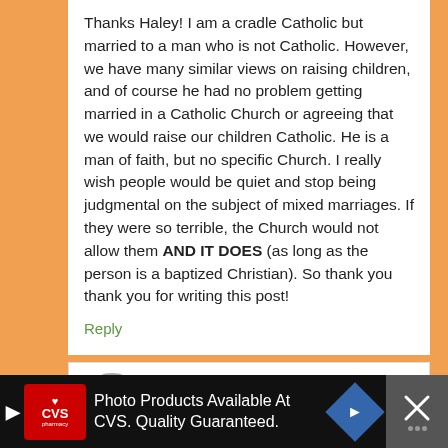Thanks Haley! I am a cradle Catholic but married to a man who is not Catholic. However, we have many similar views on raising children, and of course he had no problem getting married in a Catholic Church or agreeing that we would raise our children Catholic. He is a man of faith, but no specific Church. I really wish people would be quiet and stop being judgmental on the subject of mixed marriages. If they were so terrible, the Church would not allow them AND IT DOES (as long as the person is a baptized Christian). So thank you thank you for writing this post!
Reply
Marie says
[Figure (photo): Circular avatar of a woman with dark hair]
Photo Products Available At CVS. Quality Guaranteed.